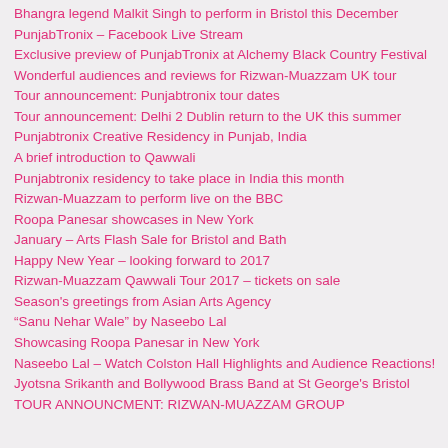Bhangra legend Malkit Singh to perform in Bristol this December
PunjabTronix – Facebook Live Stream
Exclusive preview of PunjabTronix at Alchemy Black Country Festival
Wonderful audiences and reviews for Rizwan-Muazzam UK tour
Tour announcement: Punjabtronix tour dates
Tour announcement: Delhi 2 Dublin return to the UK this summer
Punjabtronix Creative Residency in Punjab, India
A brief introduction to Qawwali
Punjabtronix residency to take place in India this month
Rizwan-Muazzam to perform live on the BBC
Roopa Panesar showcases in New York
January – Arts Flash Sale for Bristol and Bath
Happy New Year – looking forward to 2017
Rizwan-Muazzam Qawwali Tour 2017 – tickets on sale
Season's greetings from Asian Arts Agency
“Sanu Nehar Wale” by Naseebo Lal
Showcasing Roopa Panesar in New York
Naseebo Lal – Watch Colston Hall Highlights and Audience Reactions!
Jyotsna Srikanth and Bollywood Brass Band at St George's Bristol
TOUR ANNOUNCMENT: RIZWAN-MUAZZAM GROUP